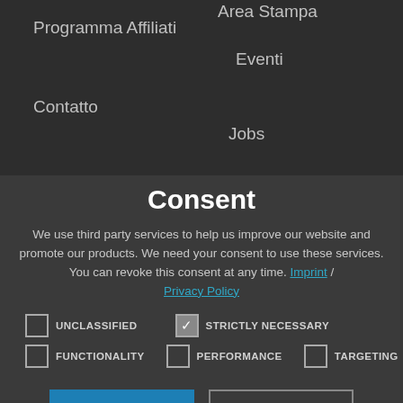Programma Affiliati   Area Stampa
Contatto   Eventi
            Jobs
Consent
We use third party services to help us improve our website and promote our products. We need your consent to use these services. You can revoke this consent at any time. Imprint / Privacy Policy
☐ UNCLASSIFIED   ☑ STRICTLY NECESSARY
☐ FUNCTIONALITY   ☐ PERFORMANCE   ☐ TARGETING
ACCEPT ALL   DECLINE ALL
⚙ SHOW DETAILS